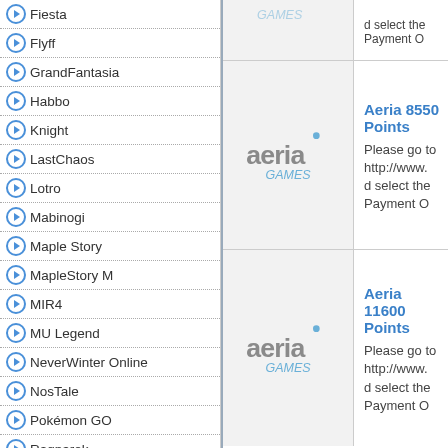Fiesta
Flyff
GrandFantasia
Habbo
Knight
LastChaos
Lotro
Mabinogi
Maple Story
MapleStory M
MIR4
MU Legend
NeverWinter Online
NosTale
Pokémon GO
Ragnarok
Ragnarok Transcendence
Ragnarok2
Rappelz
Revelation Online
RF
[Figure (logo): Aeria Games logo - top row (partially visible)]
d select the Payment O
[Figure (logo): Aeria Games logo]
Aeria 8550 Points
Please go to http://www. d select the Payment O
[Figure (logo): Aeria Games logo]
Aeria 11600 Points
Please go to http://www. d select the Payment O